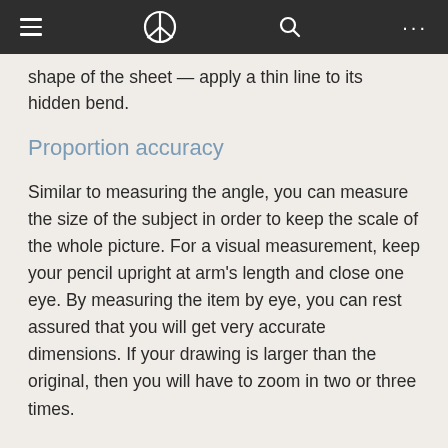≡  ☮  🔍  •••
shape of the sheet — apply a thin line to its hidden bend.
Proportion accuracy
Similar to measuring the angle, you can measure the size of the subject in order to keep the scale of the whole picture. For a visual measurement, keep your pencil upright at arm's length and close one eye. By measuring the item by eye, you can rest assured that you will get very accurate dimensions. If your drawing is larger than the original, then you will have to zoom in two or three times.